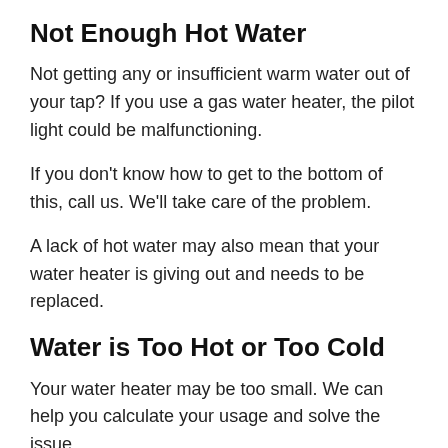Not Enough Hot Water
Not getting any or insufficient warm water out of your tap? If you use a gas water heater, the pilot light could be malfunctioning.
If you don't know how to get to the bottom of this, call us. We'll take care of the problem.
A lack of hot water may also mean that your water heater is giving out and needs to be replaced.
Water is Too Hot or Too Cold
Your water heater may be too small. We can help you calculate your usage and solve the issue.
Other Water Heater Problems